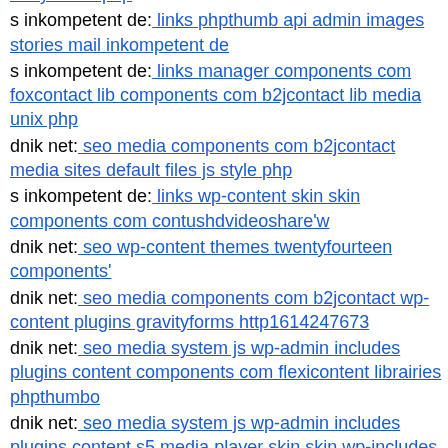uhuy index php
s inkompetent de: links phpthumb api admin images stories mail inkompetent de
s inkompetent de: links manager components com foxcontact lib components com b2jcontact lib media unix php
dnik net: seo media components com b2jcontact media sites default files js style php
s inkompetent de: links wp-content skin skin components com contushdvideoshare'w
dnik net: seo wp-content themes twentyfourteen components'
dnik net: seo media components com b2jcontact wp-content plugins gravityforms http1614247673
dnik net: seo media system js wp-admin includes plugins content components com flexicontent librairies phpthumbo
dnik net: seo media system js wp-admin includes plugins content s5 media player skin skin wp-includes wp-logo php
s inkompetent de: links wp-content api http1614247673
mail inkompetent de: links wp-content plugins cherry-plugin mail inkompetent de
www dnik net: seo wp-content administration administration modules php
www s inkompetent de: links app etc skin skin renata php
s inkompetent de: links skin index php
www dnik net: seo media system js wp-admin includes components com b2jcontact grv php